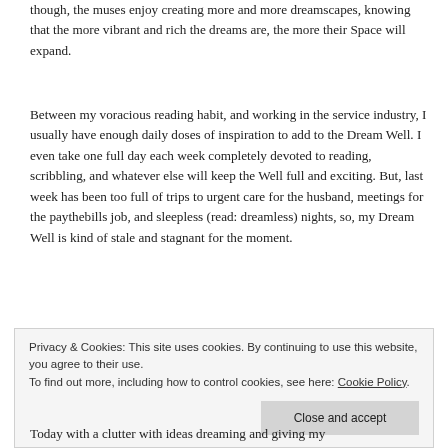though, the muses enjoy creating more and more dreamscapes, knowing that the more vibrant and rich the dreams are, the more their Space will expand.
Between my voracious reading habit, and working in the service industry, I usually have enough daily doses of inspiration to add to the Dream Well. I even take one full day each week completely devoted to reading, scribbling, and whatever else will keep the Well full and exciting. But, last week has been too full of trips to urgent care for the husband, meetings for the paythebills job, and sleepless (read: dreamless) nights, so, my Dream Well is kind of stale and stagnant for the moment.
Privacy & Cookies: This site uses cookies. By continuing to use this website, you agree to their use. To find out more, including how to control cookies, see here: Cookie Policy
Today with a clutter with ideas dreaming and giving my